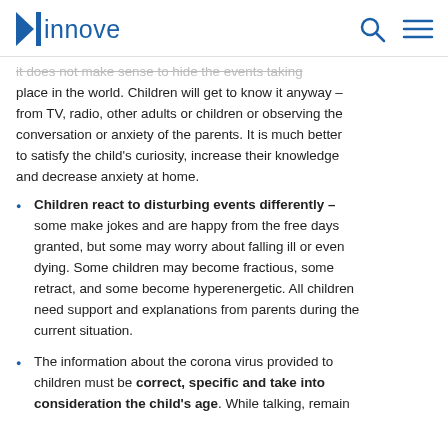innove
it does not make sense to hide the events taking place in the world. Children will get to know it anyway – from TV, radio, other adults or children or observing the conversation or anxiety of the parents. It is much better to satisfy the child's curiosity, increase their knowledge and decrease anxiety at home.
Children react to disturbing events differently – some make jokes and are happy from the free days granted, but some may worry about falling ill or even dying. Some children may become fractious, some retract, and some become hyperenergetic. All children need support and explanations from parents during the current situation.
The information about the corona virus provided to children must be correct, specific and take into consideration the child's age. While talking, remain